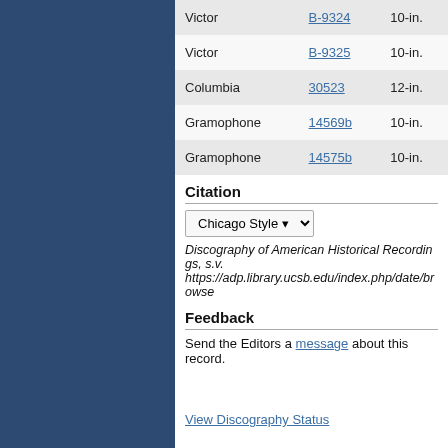| Label | Catalog # | Size |
| --- | --- | --- |
| Victor | B-9324 | 10-in. |
| Victor | B-9325 | 10-in. |
| Columbia | 30523 | 12-in. |
| Gramophone | 14569b | 10-in. |
| Gramophone | 14575b | 10-in. |
Citation
Chicago Style ▾
Discography of American Historical Recordings, s.v. https://adp.library.ucsb.edu/index.php/date/browse
Feedback
Send the Editors a message about this record.
View Discography Status